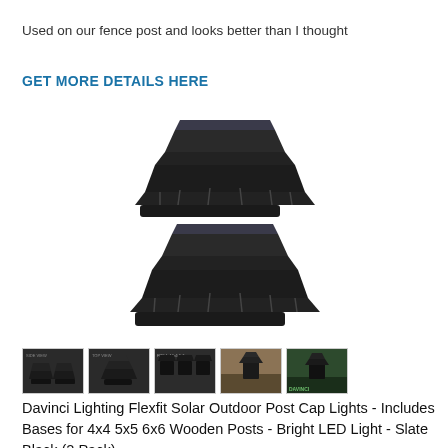Used on our fence post and looks better than I thought
GET MORE DETAILS HERE
[Figure (photo): Two black solar post cap lights stacked vertically, showing the Davinci Lighting Flexfit Solar Outdoor Post Cap Lights in Slate Black]
[Figure (photo): Row of 5 thumbnail images showing various views of the solar post cap lights including product shots and installation photos]
Davinci Lighting Flexfit Solar Outdoor Post Cap Lights - Includes Bases for 4x4 5x5 6x6 Wooden Posts - Bright LED Light - Slate Black (2 Pack)